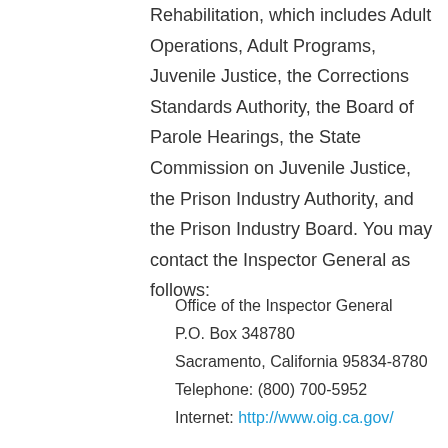Rehabilitation, which includes Adult Operations, Adult Programs, Juvenile Justice, the Corrections Standards Authority, the Board of Parole Hearings, the State Commission on Juvenile Justice, the Prison Industry Authority, and the Prison Industry Board. You may contact the Inspector General as follows:
Office of the Inspector General
P.O. Box 348780
Sacramento, California 95834-8780
Telephone: (800) 700-5952
Internet: http://www.oig.ca.gov/